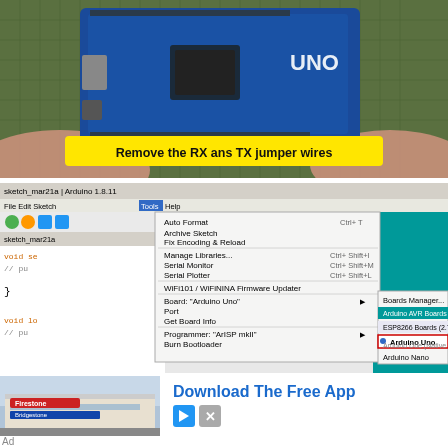[Figure (photo): Photo of hands holding an Arduino UNO microcontroller board over a green cutting mat. Yellow banner overlay reads 'Remove the RX ans TX jumper wires'.]
[Figure (screenshot): Screenshot of Arduino IDE 1.8.11 with Tools dropdown menu open showing options including Auto Format, Archive Sketch, Fix Encoding & Reload, Manage Libraries (Ctrl+Shift+I), Serial Monitor (Ctrl+Shift+M), Serial Plotter (Ctrl+Shift+L), WiFi101 / WiFiNINA Firmware Updater, Board: Arduino Uno, Port, Get Board Info, Programmer: ArISP mkII, Burn Bootloader. A submenu shows Boards Manager, Arduino AVR Boards, ESP8266 Boards (2.7.4), with Arduino Uno highlighted in a red box.]
[Figure (photo): Advertisement photo of a Firestone/Bridgestone auto service building exterior.]
Download The Free App
Ad